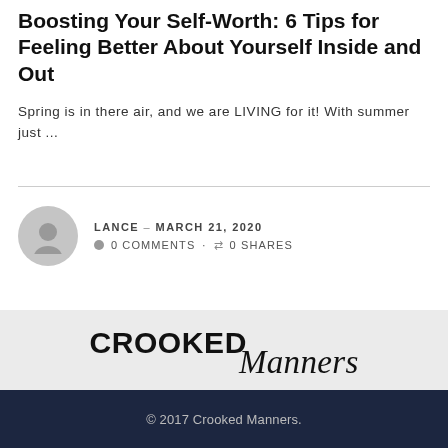Boosting Your Self-Worth: 6 Tips for Feeling Better About Yourself Inside and Out
Spring is in there air, and we are LIVING for it! With summer just ...
LANCE – MARCH 21, 2020
0 COMMENTS · 0 SHARES
[Figure (logo): Crooked Manners logo with bold sans-serif CROOKED and italic script Manners]
© 2017 Crooked Manners.